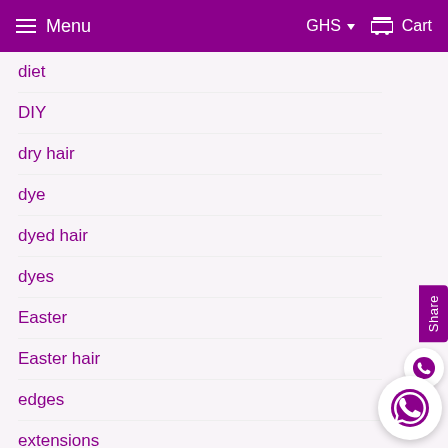Menu  GHS  Cart
diet
DIY
dry hair
dye
dyed hair
dyes
Easter
Easter hair
edges
extensions
eya naturals
Eya Salon
eyanista
flat iron
Flat Twists
fruits